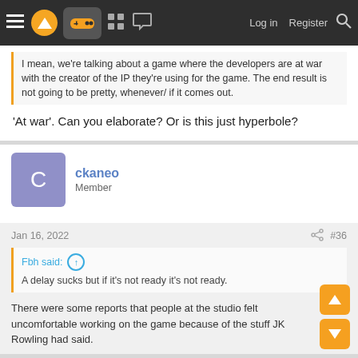Navigation bar with hamburger menu, logo, gamepad icon, grid icon, chat icon, Log in, Register, Search
I mean, we're talking about a game where the developers are at war with the creator of the IP they're using for the game. The end result is not going to be pretty, whenever/ if it comes out.
'At war'. Can you elaborate? Or is this just hyperbole?
ckaneo
Member
Jan 16, 2022
#36
Fbh said:
A delay sucks but if it's not ready it's not ready.
There were some reports that people at the studio felt uncomfortable working on the game because of the stuff JK Rowling had said.